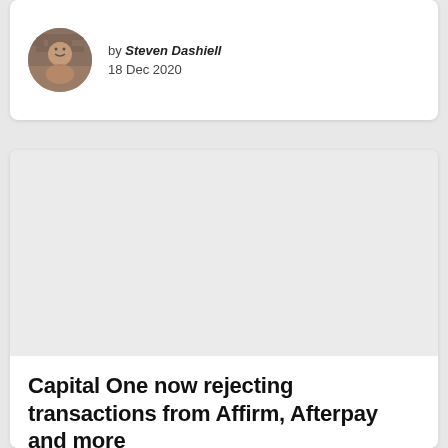by Steven Dashiell
18 Dec 2020
[Figure (photo): Placeholder grey rectangle representing an article header image]
Capital One now rejecting transactions from Affirm, Afterpay and more
Everything you need to know about the bank's new